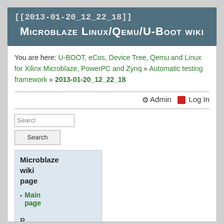[[2013-01-20_12_22_18]] Microblaze Linux/Qemu/U-Boot wiki
You are here: U-BOOT, eCos, Device Tree, Qemu and Linux for Xilinx Microblaze, PowerPC and Zynq » Automatic testing framework » 2013-01-20_12_22_18
Admin  Log In
Search
Search
Microblaze wiki page
Main page